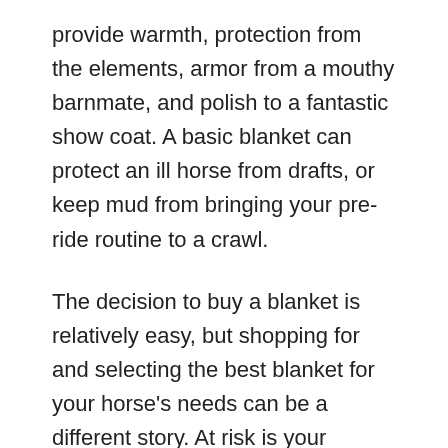provide warmth, protection from the elements, armor from a mouthy barnmate, and polish to a fantastic show coat. A basic blanket can protect an ill horse from drafts, or keep mud from bringing your pre-ride routine to a crawl.
The decision to buy a blanket is relatively easy, but shopping for and selecting the best blanket for your horse's needs can be a different story. At risk is your budget, as buying the wrong blanket can be an expensive mistake. Not only do retailers offer a potentially overwhelming number of choices, the horsewear trade employs words that, unless decoded, may make your head spin.